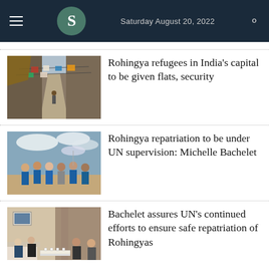Saturday August 20, 2022
[Figure (photo): A crowded alley in a Rohingya refugee settlement with makeshift shelters and hanging laundry]
Rohingya refugees in India's capital to be given flats, security
[Figure (photo): Group of people in blue jackets standing outdoors, UN officials visiting Rohingya camp]
Rohingya repatriation to be under UN supervision: Michelle Bachelet
[Figure (photo): Officials seated in a formal meeting room, Michelle Bachelet with government representatives]
Bachelet assures UN's continued efforts to ensure safe repatriation of Rohingyas